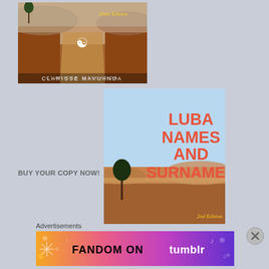[Figure (illustration): Book cover for a book by Clarisse Mavuanda, 2nd Edition. Shows a dirt road/landscape in African terrain with warm reddish-brown tones, a decorative swirl logo, and text 'CLARISSE MAVUANDA' at the bottom.]
[Figure (illustration): Book cover titled 'LUBA NAMES AND SURNAMES' in large red/coral text on a landscape background with blue sky and African terrain. '2nd Edition' in yellow italic script at bottom right.]
BUY YOUR COPY NOW!
[Figure (other): Close button (X circle) in gray]
Advertisements
[Figure (illustration): Fandom on Tumblr advertisement banner with colorful gradient background (orange to purple), icons and text reading 'FANDOM ON tumblr']